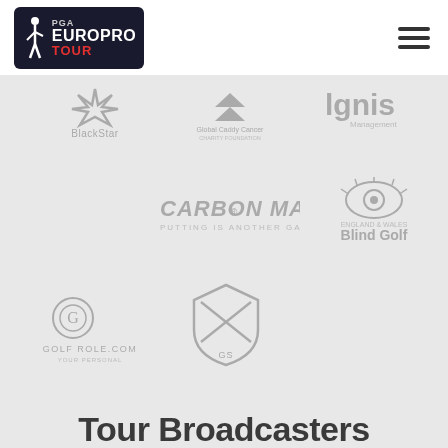[Figure (logo): PGA EuroPro Tour logo - dark navy rounded rectangle with golfer silhouette and text]
[Figure (infographic): Sponsor logos grid: BlackStar, Global Caddy Cancer, Ignis Management, Carbon Mac, England & Wales Blind Golf, GolfRole.com, GSS shield logo]
Tour Broadcasters